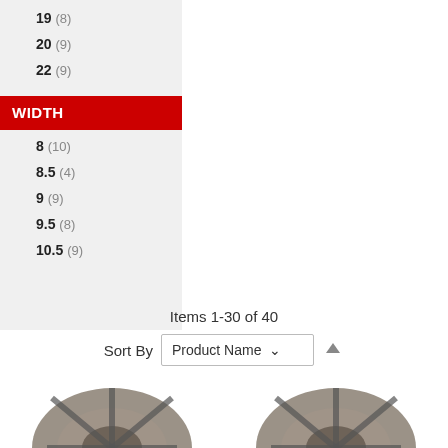19 (8)
20 (9)
22 (9)
WIDTH
8 (10)
8.5 (4)
9 (9)
9.5 (8)
10.5 (9)
Items 1-30 of 40
Sort By  Product Name
[Figure (photo): Two car wheels/rims shown at the bottom of the page, partially visible]